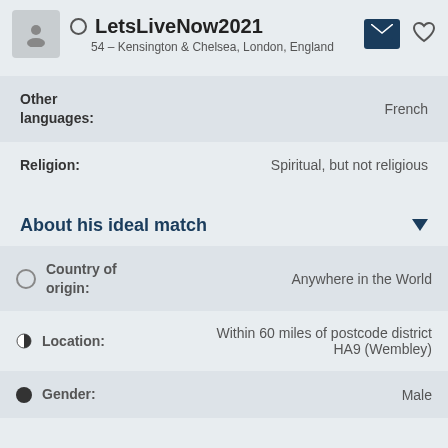LetsLiveNow2021
54 – Kensington & Chelsea, London, England
Other languages: French
Religion: Spiritual, but not religious
About his ideal match
Country of origin: Anywhere in the World
Location: Within 60 miles of postcode district HA9 (Wembley)
Gender: Male